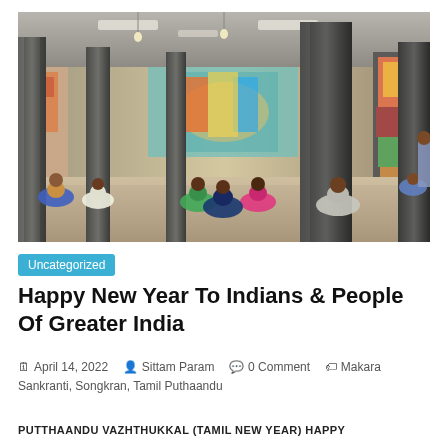[Figure (photo): Interior of a Hindu temple with large ornate stone pillars, colorful deity statues and decorations in the background. Devotees are seated on the floor facing the altar area, seen from behind.]
Uncategorized
Happy New Year To Indians & People Of Greater India
April 14, 2022 | Sittam Param | 0 Comment | Makara Sankranti, Songkran, Tamil Puthaandu
PUTTHAANDU VAZHTHUKKAL (TAMIL NEW YEAR) HAPPY